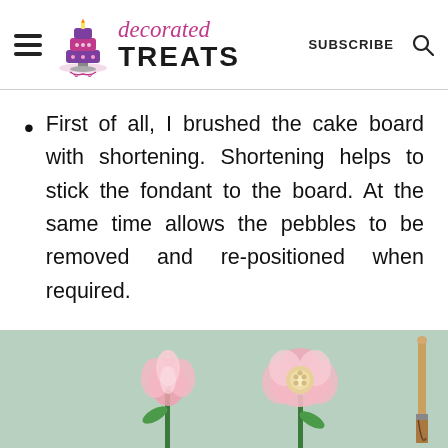decorated TREATS | SUBSCRIBE
First of all, I brushed the cake board with shortening. Shortening helps to stick the fondant to the board. At the same time allows the pebbles to be removed and re-positioned when required.
[Figure (photo): Photo showing pink fondant flowers on a mint green cake, with a brush on the right side]